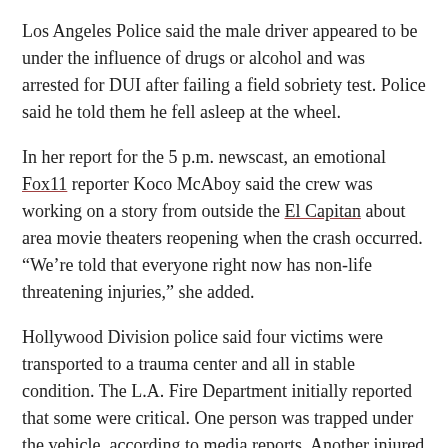Los Angeles Police said the male driver appeared to be under the influence of drugs or alcohol and was arrested for DUI after failing a field sobriety test. Police said he told them he fell asleep at the wheel.
In her report for the 5 p.m. newscast, an emotional Fox11 reporter Koco McAboy said the crew was working on a story from outside the El Capitan about area movie theaters reopening when the crash occurred. “We’re told that everyone right now has non-life threatening injuries,” she added.
Hollywood Division police said four victims were transported to a trauma center and all in stable condition. The L.A. Fire Department initially reported that some were critical. One person was trapped under the vehicle, according to media reports. Another injured person declined to be transported.
KTTV assignment and planning editor Lynette Guzman tweeted this from the scene: